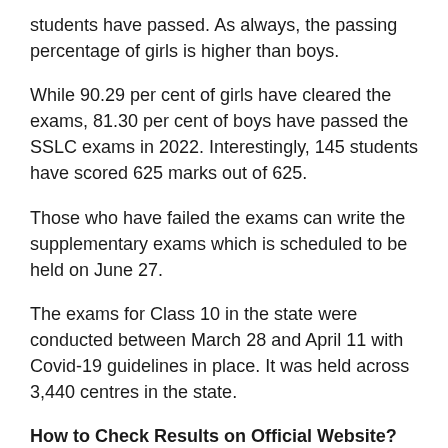students have passed. As always, the passing percentage of girls is higher than boys.
While 90.29 per cent of girls have cleared the exams, 81.30 per cent of boys have passed the SSLC exams in 2022. Interestingly, 145 students have scored 625 marks out of 625.
Those who have failed the exams can write the supplementary exams which is scheduled to be held on June 27.
The exams for Class 10 in the state were conducted between March 28 and April 11 with Covid-19 guidelines in place. It was held across 3,440 centres in the state.
How to Check Results on Official Website?